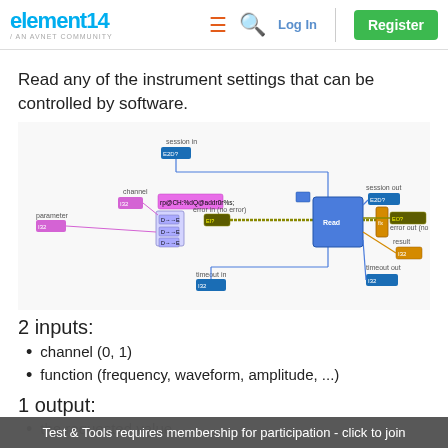element14 / AN AVNET COMMUNITY — Log In | Register
Read any of the instrument settings that can be controlled by software.
[Figure (screenshot): LabVIEW block diagram showing a VI with inputs: channel (pink), parameter (pink), session in (blue), error in (no error) (yellow/green), timeout in (blue); connected through format string node 'rp@CH:%dQ@addr0r%s;', a property node, and a read VI block, with outputs: session out (blue), error out (no error) (yellow), timeout out (blue), result (orange).]
2 inputs:
channel (0, 1)
function (frequency, waveform, amplitude, ...)
1 output:
the requested value
Test & Tools requires membership for participation - click to join